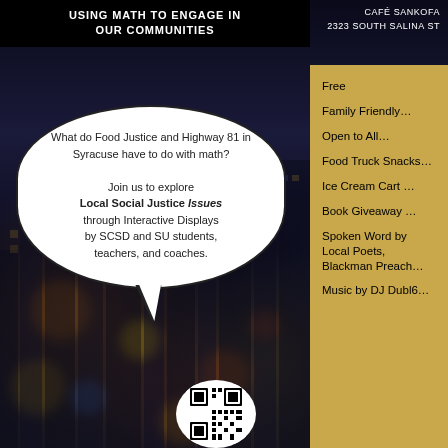USING MATH TO ENGAGE IN OUR COMMUNITIES
CAFÉ SANKOFA
2323 SOUTH SALINA ST
What do Food Justice and Highway 81 in Syracuse have to do with math?

Join us to explore Local Social Justice Issues through Interactive Displays by SCSD and SU students, teachers, and coaches.
Free
Family Friendly…
Open to All…
Food Truck Snacks…
Ice Cream Cart …
Book Giveaway …
Spoken Word by Local Poets, Blackman Preach…
Music by DJ Dubl6…
[Figure (other): QR code for event information]